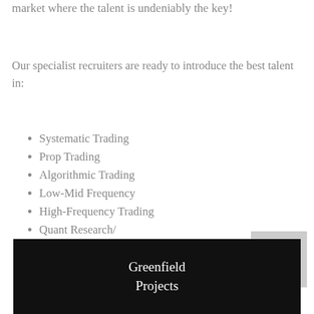market where the talent is undeniably the key!
Our specialist recruiters are ready to introduce the best talent in:
Systematic Trading
Prop Trading
Algorithmic Trading
Low-Mid Frequency
High-Frequency Trading
Quant Research/ Development
Cryptocurrencies
Trade Support
Greenfield Projects